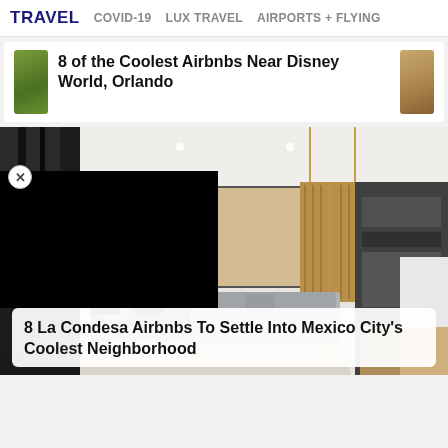TRAVEL   COVID-19   LUX TRAVEL   AIRPORTS + FLYING
8 of the Coolest Airbnbs Near Disney World, Orlando
[Figure (photo): Interior of a modern open-plan living space with large black-framed windows, wooden panel accents, pendant lights, gray sofa, dining area, and kitchen visible in background. A black overlay block covers the lower-left portion of the image (advertisement/redaction). A close/dismiss button (×) is visible at the upper-left edge.]
8 La Condesa Airbnbs To Settle Into Mexico City's Coolest Neighborhood